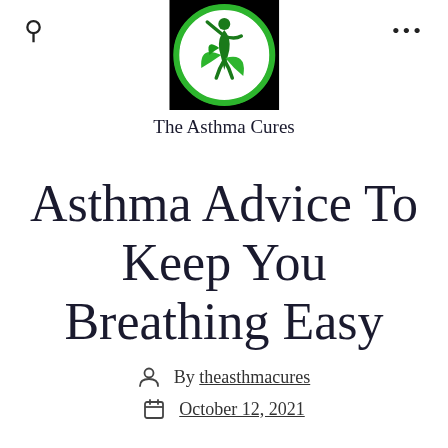[Figure (logo): The Asthma Cures logo: a circular green emblem with a person silhouette and green leaves on black background]
The Asthma Cures
Asthma Advice To Keep You Breathing Easy
By theasthmacures
October 12, 2021